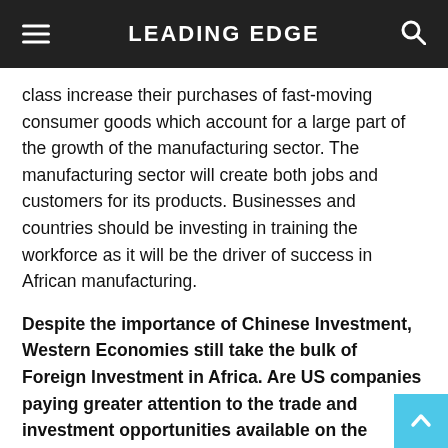LEADING EDGE
class increase their purchases of fast-moving consumer goods which account for a large part of the growth of the manufacturing sector. The manufacturing sector will create both jobs and customers for its products. Businesses and countries should be investing in training the workforce as it will be the driver of success in African manufacturing.
Despite the importance of Chinese Investment, Western Economies still take the bulk of Foreign Investment in Africa. Are US companies paying greater attention to the trade and investment opportunities available on the continent? And how is the Council contributing to this?
With Africa being the second fastest growing region globally and accounting for 6 of the 10 fastest growing economies in